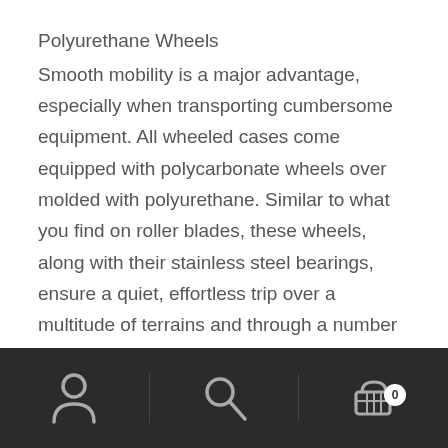Polyurethane Wheels
Smooth mobility is a major advantage, especially when transporting cumbersome equipment. All wheeled cases come equipped with polycarbonate wheels over molded with polyurethane. Similar to what you find on roller blades, these wheels, along with their stainless steel bearings, ensure a quiet, effortless trip over a multitude of terrains and through a number of weather conditions.
[navigation bar with person icon, search icon, and cart icon with badge 0]